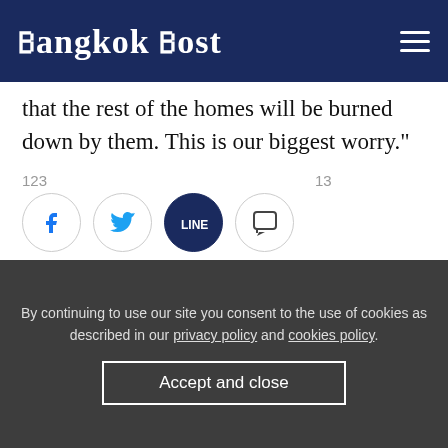Bangkok Post
that the rest of the homes will be burned down by them. This is our biggest worry."
News portal DVB quoted Thantlang politician Salai Dokhar as saying blazes were ongoing and 270 homes had been torched.
123   13
[Figure (infographic): Social sharing icons: Facebook, Twitter, LINE, and Comment buttons with counts 123 and 13]
By continuing to use our site you consent to the use of cookies as described in our privacy policy and cookies policy. Accept and close